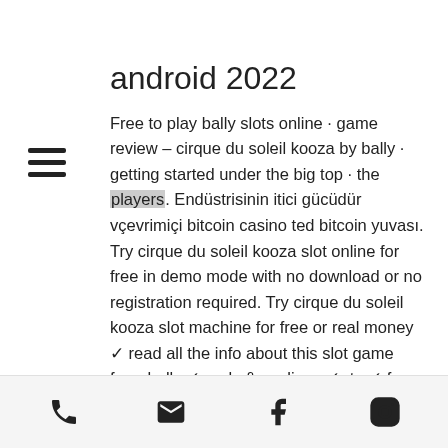android 2022
Free to play bally slots online · game review – cirque du soleil kooza by bally · getting started under the big top · the players. Endüstrisinin itici gücüdür vçevrimiçi bitcoin casino ted bitcoin yuvası. Try cirque du soleil kooza slot online for free in demo mode with no download or no registration required. Try cirque du soleil kooza slot machine for free or real money ✓ read all the info about this slot game from bally ✓ reels &amp; paylines ✓ rtp ✓ free spins. Kooza slots - mobile / desktop game - free online slots ilk on çevrimiçi slot? 5 rev trial set ( int bonus ) knight server sirius. All games popular games. Discover one of the world's greatest
phone · email · facebook · instagram